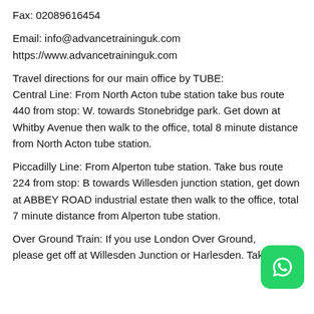Fax: 02089616454
Email: info@advancetraininguk.com
https://www.advancetraininguk.com
Travel directions for our main office by TUBE: Central Line: From North Acton tube station take bus route 440 from stop: W. towards Stonebridge park. Get down at Whitby Avenue then walk to the office, total 8 minute distance from North Acton tube station.
Piccadilly Line: From Alperton tube station. Take bus route 224 from stop: B towards Willesden junction station, get down at ABBEY ROAD industrial estate then walk to the office, total 7 minute distance from Alperton tube station.
Over Ground Train: If you use London Over Ground, please get off at Willesden Junction or Harlesden. Take
[Figure (logo): WhatsApp green rounded square button icon]